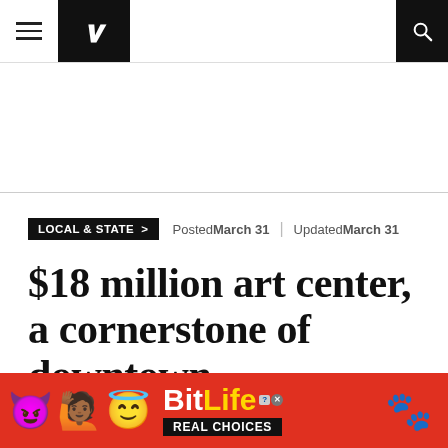Portland Press Herald navigation bar
LOCAL & STATE >   Posted March 31  |  Updated March 31
$18 million art center, a cornerstone of downtown Waterville’s rebirth, takes shape
The Paul J. Schupf Art Center at 93 Main St. is
[Figure (other): BitLife mobile game advertisement banner with emoji characters (devil, people with raised hands, angel face), red background, BitLife logo with yellow text, and 'REAL CHOICES' tagline on black background]